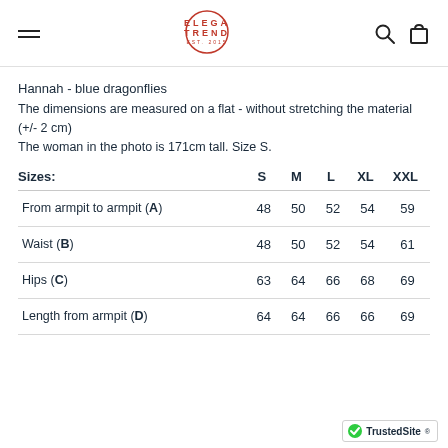ELEGATREND - navigation header
Hannah - blue dragonflies
The dimensions are measured on a flat - without stretching the material (+/- 2 cm)
The woman in the photo is 171cm tall. Size S.
| Sizes: | S | M | L | XL | XXL |
| --- | --- | --- | --- | --- | --- |
| From armpit to armpit (A) | 48 | 50 | 52 | 54 | 59 |
| Waist (B) | 48 | 50 | 52 | 54 | 61 |
| Hips (C) | 63 | 64 | 66 | 68 | 69 |
| Length from armpit (D) | 64 | 64 | 66 | 66 | 69 |